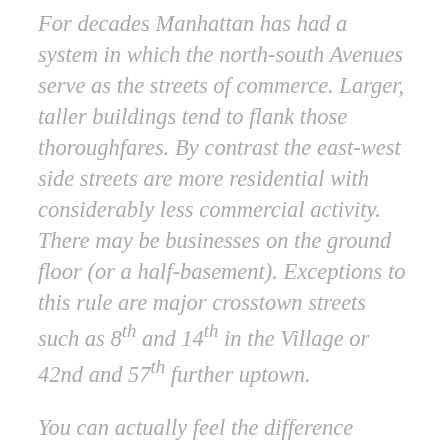For decades Manhattan has had a system in which the north-south Avenues serve as the streets of commerce. Larger, taller buildings tend to flank those thoroughfares. By contrast the east-west side streets are more residential with considerably less commercial activity. There may be businesses on the ground floor (or a half-basement). Exceptions to this rule are major crosstown streets such as 8th and 14th in the Village or 42nd and 57th further uptown.
You can actually feel the difference